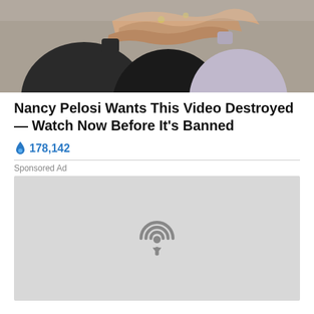[Figure (photo): Photograph showing people shaking hands or joining hands, partially cropped at top]
Nancy Pelosi Wants This Video Destroyed — Watch Now Before It's Banned
🔥 178,142
Sponsored Ad
[Figure (other): Gray placeholder media box with a podcast/broadcast icon in the center]
Who decides the sex of your child? Biology? Not anymore, if some people have their